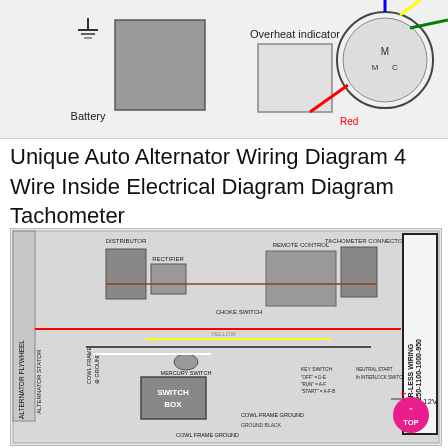[Figure (schematic): Top portion of an electrical wiring schematic showing Battery symbol, Overheat indicator component, and a circular connector with colored wires (blue, red, yellow, green). Labels include 'Battery', 'Overheat indicator', and 'Red'.]
Unique Auto Alternator Wiring Diagram 4 Wire Inside Electrical Diagram Diagram Tachometer
[Figure (engineering-diagram): Merc 1250-1100-1000-950 Breaker-Less Wiring diagram showing alternator flywheel, alternator stator, distributor, rectifier, cowl frame ground, mercury switch, switch box, choke switch, remote control, tachometer connector, key switch (OFF=D-E, RUN=A-F, START=A-F-B), neutral start interlock switch, and 12V battery connections. Wires shown in multiple colors including red, yellow, black, brown, gray, white, green. Title box reads 'MERC 1250-1100-1000-950 BREAKER-LESS WIRING' in vertical orientation on right side.]